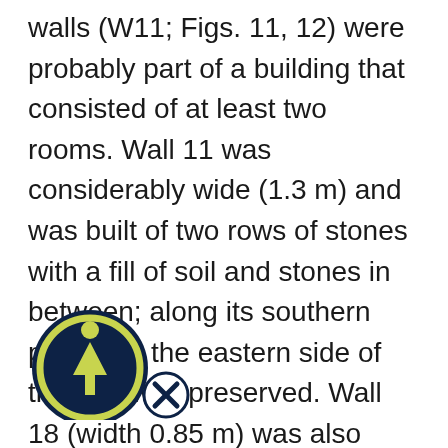walls (W11; Figs. 11, 12) were probably part of a building that consisted of at least two rooms. Wall 11 was considerably wide (1.3 m) and was built of two rows of stones with a fill of soil and stones in between; along its southern part, only the eastern side of the wall was preserved. Wall 18 (width 0.85 m) was also built of two rows of stones; only its eastern end was preserved. This wall apparently separated the two rooms of the building. Around the pillars west of Wall 11, a floor of tamped loess and ash (L309; thickness 5 cm; Fig. 13), laid above the loess soil, was exposed. Fragments of pottery s, stone objects and charcoal were discovered r. On the basis of a 14C analysis of the
[Figure (logo): Circular logo with dark navy background, a yellow/green upward arrow figure with a dot at the top (person with raised arm), overlaid with a smaller circle with an X mark. Appears to be a watermark or institutional logo.]